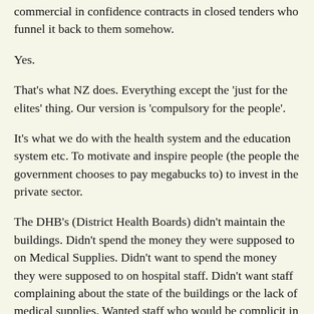commercial in confidence contracts in closed tenders who funnel it back to them somehow.
Yes.
That's what NZ does. Everything except the 'just for the elites' thing. Our version is 'compulsory for the people'.
It's what we do with the health system and the education system etc. To motivate and inspire people (the people the government chooses to pay megabucks to) to invest in the private sector.
The DHB's (District Health Boards) didn't maintain the buildings. Didn't spend the money they were supposed to on Medical Supplies. Didn't want to spend the money they were supposed to on hospital staff. Didn't want staff complaining about the state of the buildings or the lack of medical supplies. Wanted staff who would be complicit in not using supplies and not complaining about the lack of supplies.
We've got some Medical staff who cry cry cry and will strike for more money. But they want more money as leverage. They want the type of machines...